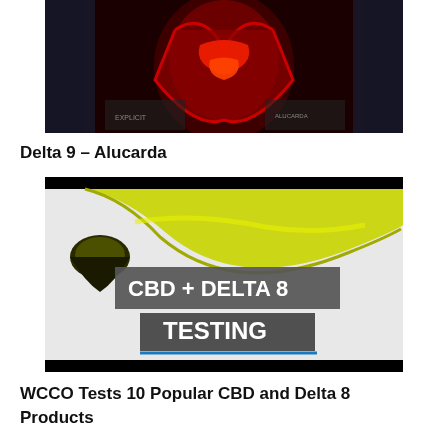[Figure (photo): Album art or music video thumbnail showing a red anatomical heart with dark/black background and glowing red textures]
Delta 9 – Alucarda
[Figure (photo): CBD + Delta 8 Testing promotional image showing a golden/yellow oil drip on white background with text overlay reading 'CBD + DELTA 8 TESTING' in white on dark grey banner]
WCCO Tests 10 Popular CBD and Delta 8 Products